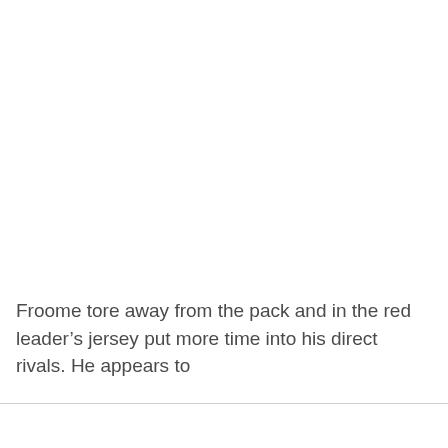Froome tore away from the pack and in the red leader’s jersey put more time into his direct rivals. He appears to